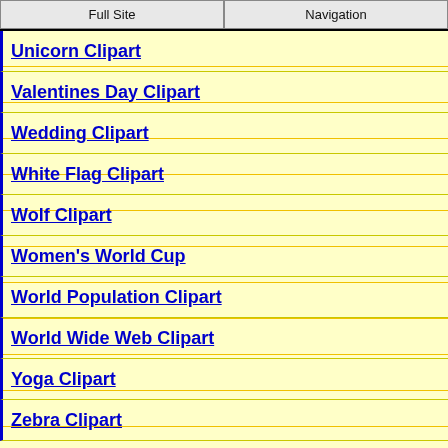Full Site | Navigation
Unicorn Clipart
Valentines Day Clipart
Wedding Clipart
White Flag Clipart
Wolf Clipart
Women's World Cup
World Population Clipart
World Wide Web Clipart
Yoga Clipart
Zebra Clipart